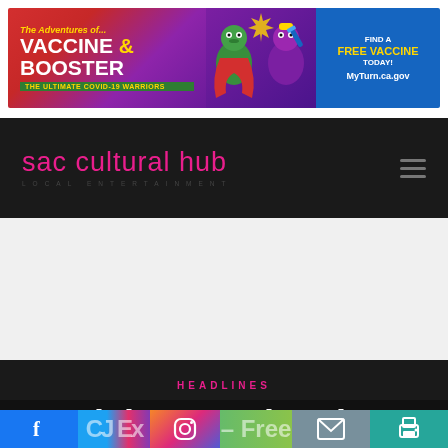[Figure (illustration): Vaccine & Booster banner ad: colorful superhero/comic style banner with text 'The Adventures of... VACCINE & BOOSTER THE ULTIMATE COVID-19 WARRIORS' on left, cartoon characters in middle, 'FIND A FREE VACCINE TODAY! MyTurn.ca.gov' on blue right side]
sac cultural hub · LOCAL ENTERTAINMENT
HEADLINES
Celebrate July 4th at
[Figure (infographic): Social sharing bar with Facebook, Twitter/CJ Expo, Instagram, email, and print icons]